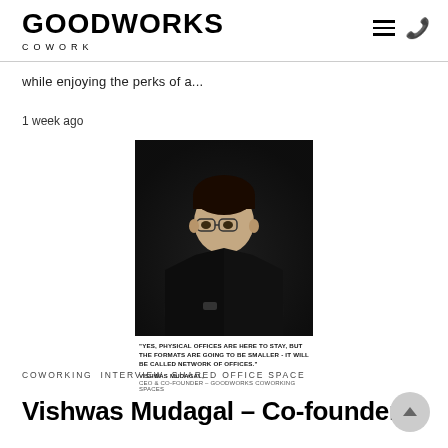GOODWORKS COWORK
while enjoying the perks of a...
1 week ago
[Figure (photo): Portrait photo of Vishwas Mudagal seated, wearing glasses and dark jacket, against dark background. Caption reads: 'YES, PHYSICAL OFFICES ARE HERE TO STAY, BUT THE FORMATS ARE GOING TO BE SMALLER - IT WILL BE CALLED NETWORK OF OFFICES.' VISHWAS MUDAGAL, CEO & CO-FOUNDER - GOODWORKS COWORKING SPACES]
COWORKING   INTERVIEW   SHARED OFFICE SPACE
Vishwas Mudagal – Co-founder